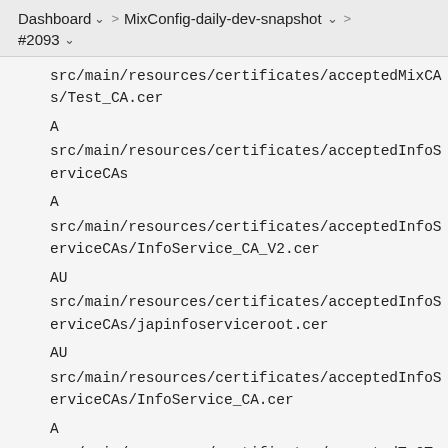Dashboard > MixConfig-daily-dev-snapshot > #2093
A
src/main/resources/certificates/acceptedMixCAs/Test_CA.cer
A
src/main/resources/certificates/acceptedInfoServiceCAs
A
src/main/resources/certificates/acceptedInfoServiceCAs/InfoService_CA_V2.cer
AU
src/main/resources/certificates/acceptedInfoServiceCAs/japinfoserviceroot.cer
AU
src/main/resources/certificates/acceptedInfoServiceCAs/InfoService_CA.cer
A
src/main/resources/certificates/acceptedTaCTemplates